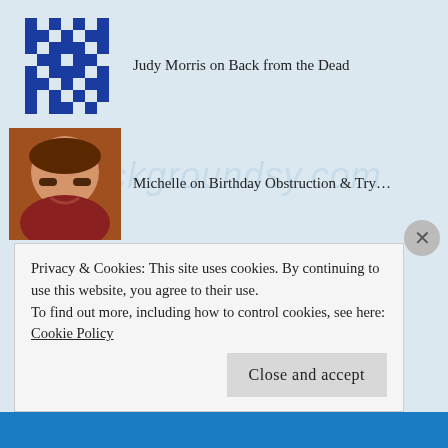Judy Morris on Back from the Dead
Michelle on Birthday Obstruction & Try...
smihm01 on Birthday Obstruction & Try...
Wendy on Latest IF Update & Reason...
adventurant on Chronic Disease From a Physici...
Privacy & Cookies: This site uses cookies. By continuing to use this website, you agree to their use.
To find out more, including how to control cookies, see here: Cookie Policy
Close and accept